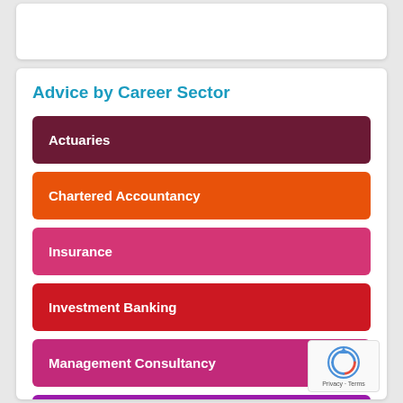Advice by Career Sector
Actuaries
Chartered Accountancy
Insurance
Investment Banking
Management Consultancy
Pensions